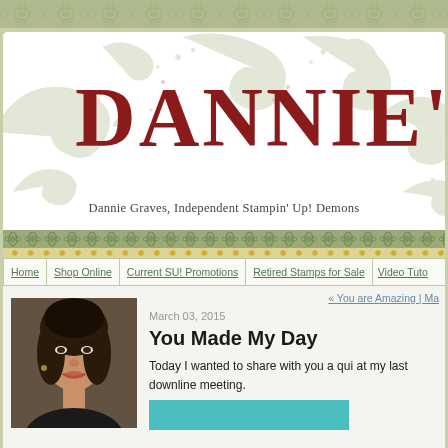[Figure (illustration): Top decorative banner with sage green damask/floral wallpaper pattern]
DANNIE'S
Dannie Graves, Independent Stampin' Up! Demonstrator
[Figure (illustration): Decorative green floral/scroll flourish border strip with repeating motifs and yellow dots]
Home | Shop Online | Current SU! Promotions | Retired Stamps for Sale | Video Tuto
« You are Amazing | Ma
March 03, 2015
You Made My Day
[Figure (photo): Profile photo of a woman with dark hair, looking at camera, dark background]
Today I wanted to share with you a qui at my last downline meeting.
[Figure (photo): Partial view of a card or craft project with teal/turquoise background]